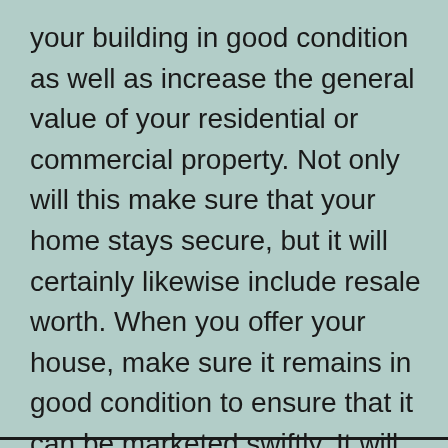your building in good condition as well as increase the general value of your residential or commercial property. Not only will this make sure that your home stays secure, but it will certainly likewise include resale worth. When you offer your house, make sure it remains in good condition to ensure that it can be marketed swiftly. It will certainly raise its value. This will certainly also boost your chances of offering it.